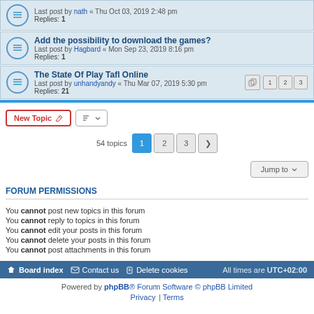Last post by nath « Thu Oct 03, 2019 2:48 pm
Replies: 1
Add the possibility to download the games?
Last post by Hagbard « Mon Sep 23, 2019 8:16 pm
Replies: 1
The State Of Play Tafl Online
Last post by unhandyandy « Thu Mar 07, 2019 5:30 pm
Replies: 21
New Topic | Sort | 54 topics | 1 | 2 | 3 | >
Jump to
FORUM PERMISSIONS
You cannot post new topics in this forum
You cannot reply to topics in this forum
You cannot edit your posts in this forum
You cannot delete your posts in this forum
You cannot post attachments in this forum
Board index | Contact us | Delete cookies | All times are UTC+02:00
Powered by phpBB® Forum Software © phpBB Limited
Privacy | Terms